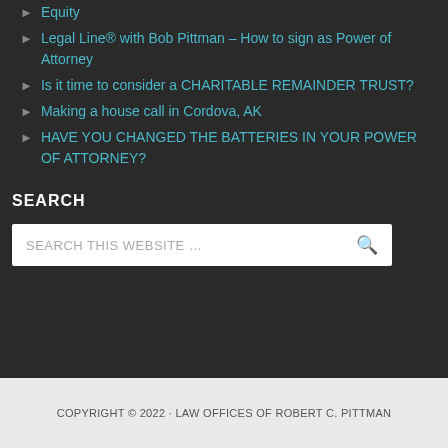Equity
Legal Line® with Bob Pittman – How to sign as Power of Attorney
Is it time to consider a CHARITABLE REMAINDER TRUST?
Making a house call in Cordova, AK
HAVE YOU CHANGED THE BATTERIES IN YOUR POWER OF ATTORNEY?
SEARCH
SEARCH THIS WEBSITE …
COPYRIGHT © 2022 · LAW OFFICES OF ROBERT C. PITTMAN